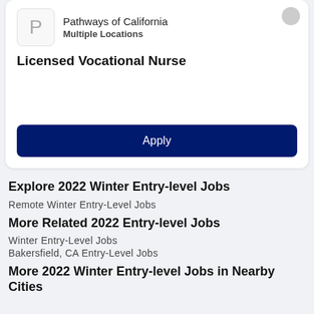Pathways of California
Multiple Locations
Licensed Vocational Nurse
Apply
Explore 2022 Winter Entry-level Jobs
Remote Winter Entry-Level Jobs
More Related 2022 Entry-level Jobs
Winter Entry-Level Jobs
Bakersfield, CA Entry-Level Jobs
More 2022 Winter Entry-level Jobs in Nearby Cities